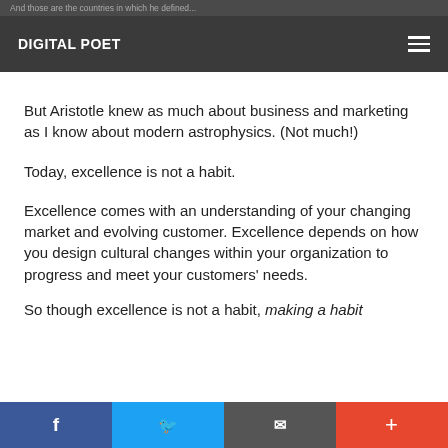DIGITAL POET
But Aristotle knew as much about business and marketing as I know about modern astrophysics. (Not much!)
Today, excellence is not a habit.
Excellence comes with an understanding of your changing market and evolving customer. Excellence depends on how you design cultural changes within your organization to progress and meet your customers' needs.
So though excellence is not a habit, making a habit